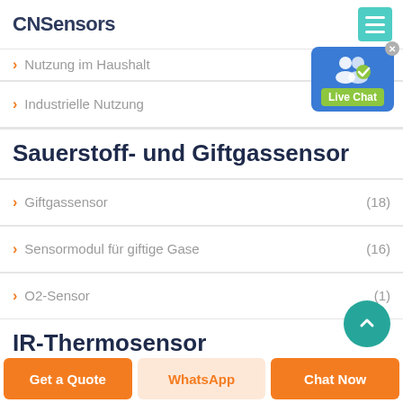CNSensors
> Nutzung im Haushalt (4)
> Industrielle Nutzung
Sauerstoff- und Giftgassensor
> Giftgassensor (18)
> Sensormodul für giftige Gase (16)
> O2-Sensor (1)
IR-Thermosensor
[Figure (screenshot): Live Chat popup button overlay]
Get a Quote | WhatsApp | Chat Now